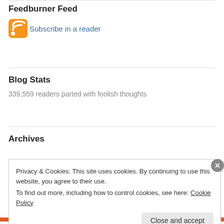Feedburner Feed
Subscribe in a reader
Blog Stats
339,559 readers parted with foolish thoughts
Archives
Privacy & Cookies: This site uses cookies. By continuing to use this website, you agree to their use.
To find out more, including how to control cookies, see here: Cookie Policy
Close and accept